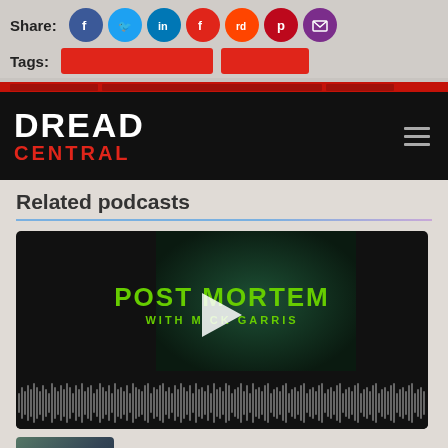Share:
[Figure (infographic): Social media share icons: Facebook, Twitter, LinkedIn, Flipboard, Reddit, Pinterest, Email]
Tags:
[Figure (infographic): Two red tag pills/buttons]
[Figure (logo): Dread Central logo — white DREAD over red CENTRAL on black navbar with hamburger menu icon]
Related podcasts
[Figure (screenshot): Podcast player for 'Post Mortem with Mick Garris' showing green text logo on dark background, play button, and audio waveform at bottom]
[Figure (photo): Thumbnail image preview at bottom of page]